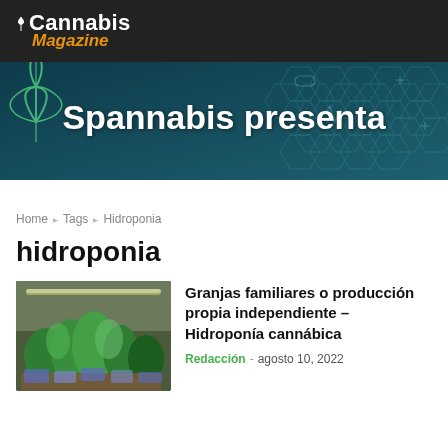Cannabis Magazine
[Figure (illustration): Spannabis presenta banner — dark teal background with hexagonal medical icons, a cannabis leaf outline on the left, and bold white text reading 'Spannabis presenta']
Home › Tags › Hidroponia
hidroponia
[Figure (photo): Photo of cannabis plants growing indoors in a hydroponic setup with green foliage and grow lights]
Granjas familiares o producción propia independiente – Hidroponía cannábica
Redacción - agosto 10, 2022